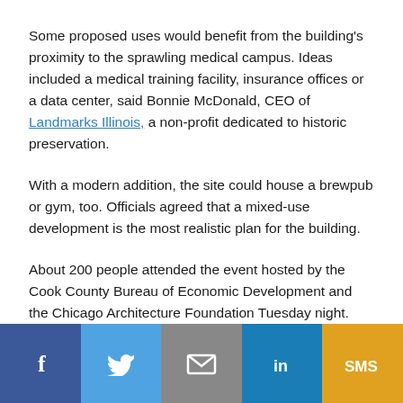Some proposed uses would benefit from the building's proximity to the sprawling medical campus. Ideas included a medical training facility, insurance offices or a data center, said Bonnie McDonald, CEO of Landmarks Illinois, a non-profit dedicated to historic preservation.
With a modern addition, the site could house a brewpub or gym, too. Officials agreed that a mixed-use development is the most realistic plan for the building.
About 200 people attended the event hosted by the Cook County Bureau of Economic Development and the Chicago Architecture Foundation Tuesday night.
Saving history
[Figure (infographic): Social media sharing bar with Facebook, Twitter, Email, LinkedIn, and SMS buttons]